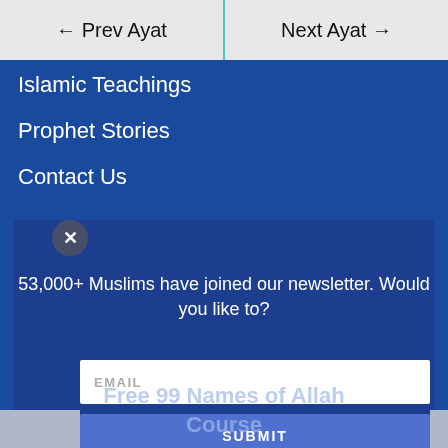← Prev Ayat   Next Ayat →
Islamic Teachings
Prophet Stories
Contact Us
53,000+ Muslims have joined our newsletter. Would you like to?
EMAIL
SUBMIT
Free 99 Names of Allah Course